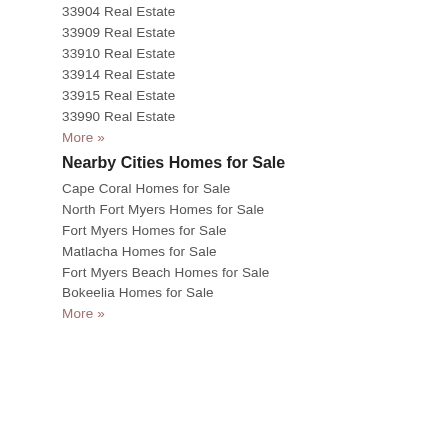33904 Real Estate
33909 Real Estate
33910 Real Estate
33914 Real Estate
33915 Real Estate
33990 Real Estate
More »
Nearby Cities Homes for Sale
Cape Coral Homes for Sale
North Fort Myers Homes for Sale
Fort Myers Homes for Sale
Matlacha Homes for Sale
Fort Myers Beach Homes for Sale
Bokeelia Homes for Sale
More »